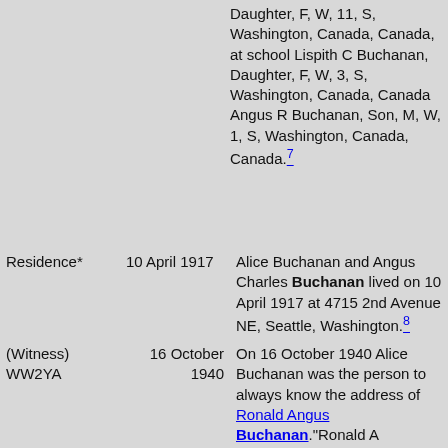Daughter, F, W, 11, S, Washington, Canada, Canada, at school Lispith C Buchanan, Daughter, F, W, 3, S, Washington, Canada, Canada Angus R Buchanan, Son, M, W, 1, S, Washington, Canada, Canada.[7]
| Event | Date | Details |
| --- | --- | --- |
| Residence* | 10 April 1917 | Alice Buchanan and Angus Charles Buchanan lived on 10 April 1917 at 4715 2nd Avenue NE, Seattle, Washington.[8] |
| (Witness) WW2YA | 16 October 1940 | On 16 October 1940 Alice Buchanan was the person to always know the address of Ronald Angus Buchanan."Ronald A Buchanan of 4515 2nd Ave NE, Seattle, Washington |